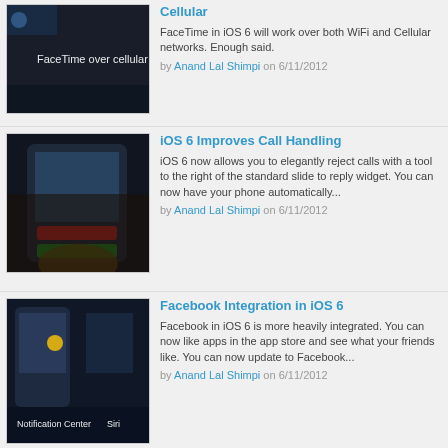[Figure (photo): Dark image showing 'FaceTime over cellular' text on screen]
Cellular
FaceTime in iOS 6 will work over both WiFi and Cellular networks. Enough said.
by Anand Lal Shimpi on 6/11/2012
[Figure (photo): Dark image showing hands holding iPhone with call rejection interface]
iOS 6 Improves Call Handling
iOS 6 now allows you to elegantly reject calls with a tool to the right of the standard slide to reply widget. You can now have your phone automatically...
by Anand Lal Shimpi on 6/11/2012
[Figure (photo): Dark image showing two iPhones with Notification Center and Siri labels]
Facebook Integration in iOS 6
Facebook in iOS 6 is more heavily integrated. You can now like apps in the app store and see what your friends like. You can now update to Facebook...
by Anand Lal Shimpi on 6/11/2012
[Figure (photo): Dark image partial view of device]
Siri in iOS 6